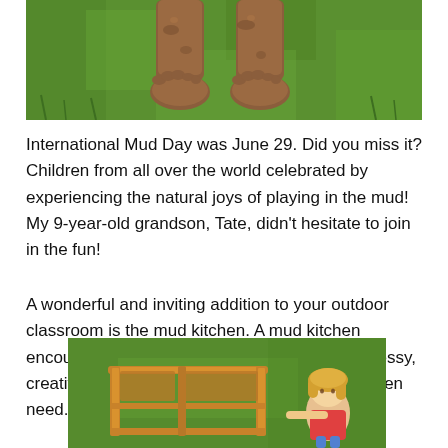[Figure (photo): Close-up of mud-covered bare feet standing on green grass]
International Mud Day was June 29. Did you miss it? Children from all over the world celebrated by experiencing the natural joys of playing in the mud! My 9-year-old grandson, Tate, didn't hesitate to join in the fun!
A wonderful and inviting addition to your outdoor classroom is the mud kitchen. A mud kitchen encourages dramatic play and allows for the messy, creative, and sensory experiences that all children need.
[Figure (photo): Child playing with a wooden mud kitchen on green grass]